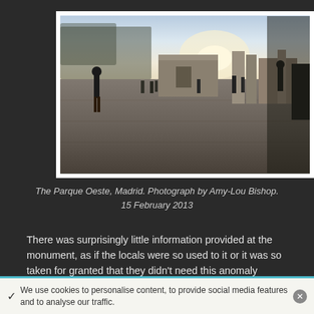[Figure (photo): Outdoor photograph of the Parque Oeste in Madrid showing a wide stone plaza with people walking, a temple/monument structure in the background, trees on the left, and a bright sky. Several figures are visible including a woman standing on the left side of the frame.]
The Parque Oeste, Madrid. Photograph by Amy-Lou Bishop. 15 February 2013
There was surprisingly little information provided at the monument, as if the locals were so used to it or it was so taken for granted that they didn't need this anomaly
We use cookies to personalise content, to provide social media features and to analyse our traffic.